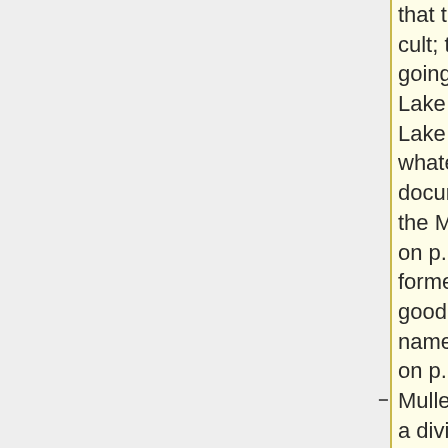that this group was a cult; the meeting was going to be on 13 Lake Street or 31 Lake Street; for whatever reason this document ended up in the Missing Girl File; on p.181 introduces a former roommate and good friend of Bundy's named John Muller; on p.182 says that Muller was partners in a diving venture with someone named Stan, who drowned a